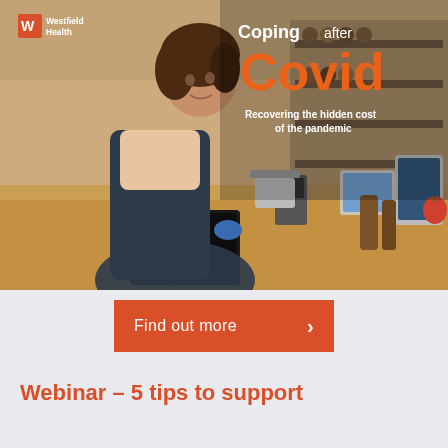[Figure (photo): Woman in dark apron writing on a chalkboard sign at a shop counter, with shelves of products in the background. Overlaid text reads 'Coping after Covid – Recovering the hidden cost of the pandemic' with the Westfield Health logo.]
Find out more ›
Webinar – 5 tips to support